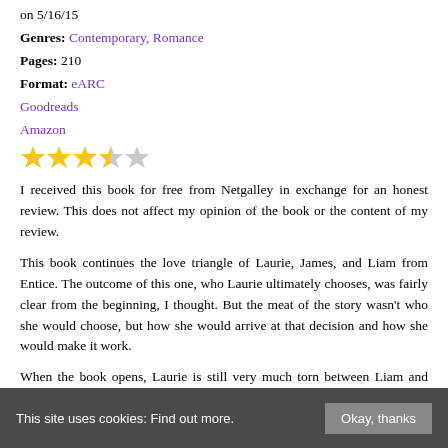on 5/16/15
Genres: Contemporary, Romance
Pages: 210
Format: eARC
Goodreads
Amazon
[Figure (other): 3.5 out of 5 stars rating — three full gold stars, one half gold/grey star, one grey star]
I received this book for free from Netgalley in exchange for an honest review. This does not affect my opinion of the book or the content of my review.
This book continues the love triangle of Laurie, James, and Liam from Entice. The outcome of this one, who Laurie ultimately chooses, was fairly clear from the beginning, I thought. But the meat of the story wasn't who she would choose, but how she would arrive at that decision and how she would make it work.
When the book opens, Laurie is still very much torn between Liam and James. She and Liam have undeniable chemistry, and she recognizes that she's falling for him even as she's not sure if she should be. He's been pretty open from the beginning that he doesn't do relationships, doesn't do long-
This site uses cookies: Find out more.  Okay, thanks